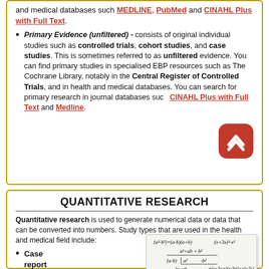and medical databases such as MEDLINE, PubMed and CINAHL Plus with Full Text.
Primary Evidence (unfiltered) - consists of original individual studies such as controlled trials, cohort studies, and case studies. This is sometimes referred to as unfiltered evidence. You can find primary studies in specialised EBP resources such as The Cochrane Library, notably in the Central Register of Controlled Trials, and in health and medical databases. You can search for primary research in journal databases such as CINAHL Plus with Full Text and Medline.
QUANTITATIVE RESEARCH
Quantitative research is used to generate numerical data or data that can be converted into numbers. Study types that are used in the health and medical field include:
Case report or case series -
[Figure (math-figure): Handwritten mathematical formulas: (a²-b²)=(a-b)(a+b), long division of a²+ab+b², (a-b)√a² - b², and (x+3x-x)(x-3x²)+x(x·2x)+x⁴]